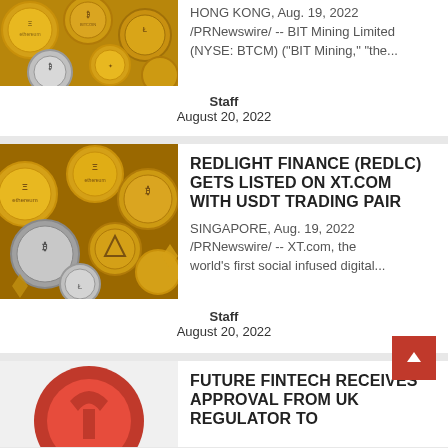[Figure (photo): Pile of cryptocurrency coins including Ethereum and other altcoins, partially visible at top of page]
HONG KONG, Aug. 19, 2022 /PRNewswire/ -- BIT Mining Limited (NYSE: BTCM) ("BIT Mining," "the...
Staff
August 20, 2022
[Figure (photo): Pile of cryptocurrency coins including Ethereum, Bitcoin, Ripple and other altcoins]
REDLIGHT FINANCE (REDLC) GETS LISTED ON XT.COM WITH USDT TRADING PAIR
SINGAPORE, Aug. 19, 2022 /PRNewswire/ -- XT.com, the world's first social infused digital...
Staff
August 20, 2022
[Figure (photo): Partial red logo or icon visible at bottom of page]
FUTURE FINTECH RECEIVES APPROVAL FROM UK REGULATOR TO